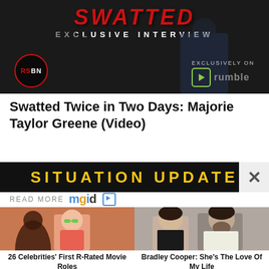[Figure (screenshot): Video thumbnail showing 'SWATTED - EXCLUSIVE INTERVIEW' with RSBN logo and Rumble branding, featuring people seated against dark background]
Swatted Twice in Two Days: Majorie Taylor Greene (Video)
[Figure (screenshot): SITUATION UPDATE advertisement banner in yellow text on black background with X close button]
READ MORE mgid
[Figure (photo): 26 Celebrities' First R-Rated Movie Roles - thumbnail showing young woman with green sunglasses]
26 Celebrities' First R-Rated Movie Roles
[Figure (photo): Bradley Cooper: She's The Love Of My Life - thumbnail showing a woman and bearded man]
Bradley Cooper: She's The Love Of My Life